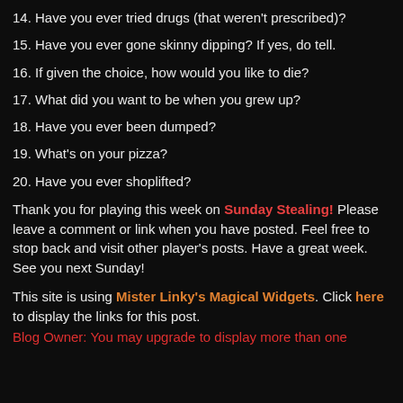14. Have you ever tried drugs (that weren't prescribed)?
15. Have you ever gone skinny dipping? If yes, do tell.
16. If given the choice, how would you like to die?
17. What did you want to be when you grew up?
18. Have you ever been dumped?
19. What's on your pizza?
20. Have you ever shoplifted?
Thank you for playing this week on Sunday Stealing! Please leave a comment or link when you have posted. Feel free to stop back and visit other player's posts. Have a great week. See you next Sunday!
This site is using Mister Linky's Magical Widgets. Click here to display the links for this post.
Blog Owner: You may upgrade to display more than one...